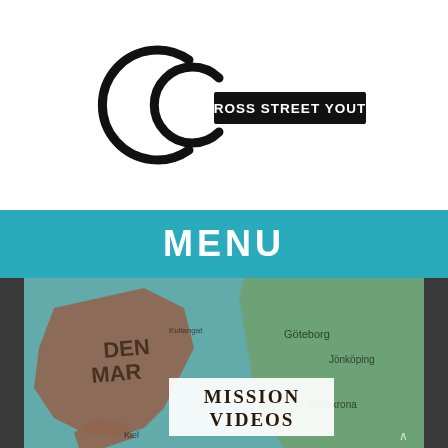[Figure (logo): Cross Street Youth logo with two overlapping C letters and text 'CROSS STREET YOUTH' in a rectangular banner]
MENU
[Figure (photo): A map image showing Scandinavia/Denmark region with overlaid text 'MISSION VIDEOS' in a white box with vintage lettering style]